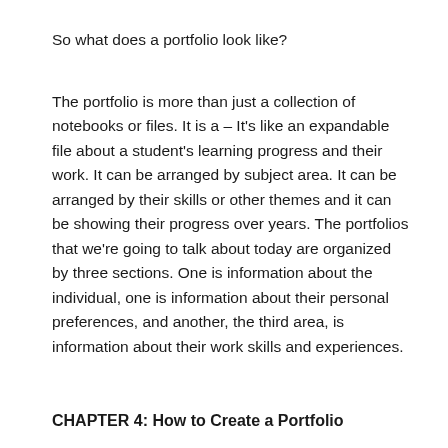So what does a portfolio look like?
The portfolio is more than just a collection of notebooks or files. It is a – It's like an expandable file about a student's learning progress and their work. It can be arranged by subject area. It can be arranged by their skills or other themes and it can be showing their progress over years. The portfolios that we're going to talk about today are organized by three sections. One is information about the individual, one is information about their personal preferences, and another, the third area, is information about their work skills and experiences.
CHAPTER 4: How to Create a Portfolio